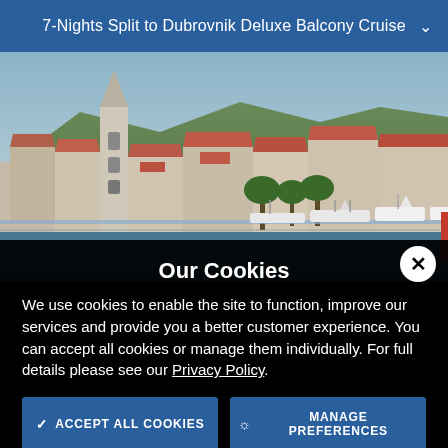7-Nights Split to Dubrovnik Deluxe Balcony Cruise
[Figure (photo): Aerial view of a Croatian coastal city (Hvar/Trogir) with terracotta rooftops, a tall stone bell tower, palm trees, and white yachts moored at the marina]
Our Cookies
We use cookies to enable the site to function, improve our services and provide you a better customer experience. You can accept all cookies or manage them individually. For full details please see our Privacy Policy.
ACCEPT ALL COOKIES
MANAGE PREFERENCES